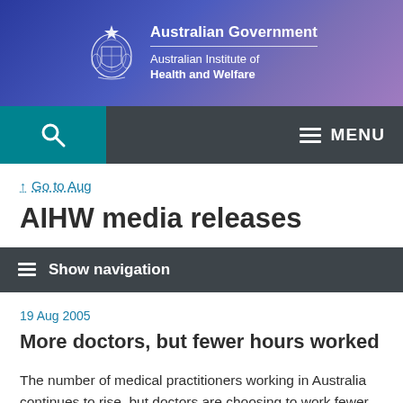[Figure (logo): Australian Government Australian Institute of Health and Welfare logo with coat of arms on blue/purple gradient background]
Australian Government Australian Institute of Health and Welfare
Go to Aug
AIHW media releases
Show navigation
19 Aug 2005
More doctors, but fewer hours worked
The number of medical practitioners working in Australia continues to rise, but doctors are choosing to work fewer